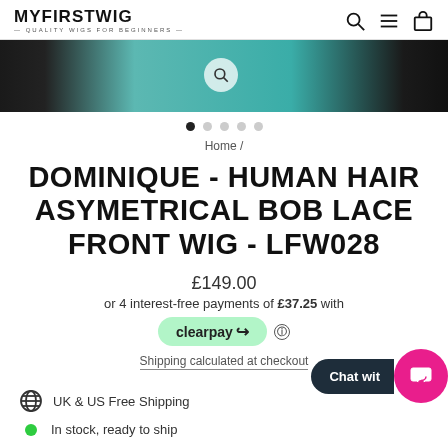MYFIRSTWIG — QUALITY WIGS FOR BEGINNERS —
[Figure (photo): Hero image strip showing a person wearing a teal/turquoise top, partially cropped, with dark panels on left and right edges and a magnify/zoom icon overlay]
Home /
DOMINIQUE - HUMAN HAIR ASYMETRICAL BOB LACE FRONT WIG - LFW028
£149.00
or 4 interest-free payments of £37.25 with
[Figure (logo): Clearpay logo pill button in green, with info icon next to it]
Shipping calculated at checkout
UK & US Free Shipping
In stock, ready to ship